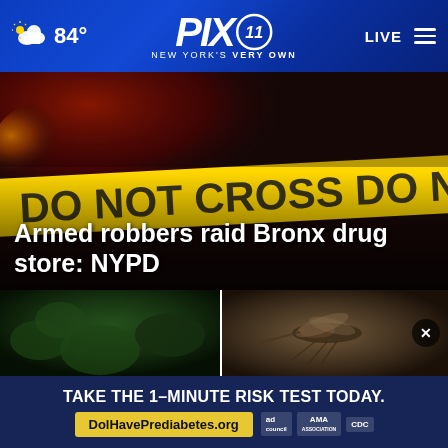84° PIX11 NEW YORK'S VERY OWN LIVE
[Figure (photo): Crime scene police tape with red and blue emergency lights in background, yellow CRIME SCENE tape visible]
Armed robbers raid Bronx drug store: NYPD
[Figure (photo): Dark green outdoor thumbnail image]
[Figure (photo): Close-up photo of mosquito insect]
TAKE THE 1-MINUTE RISK TEST TODAY. DolHavePrediabetes.org